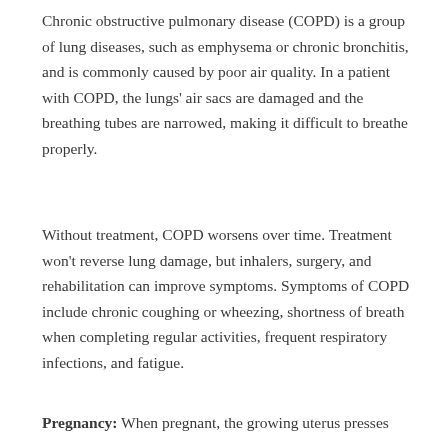Chronic obstructive pulmonary disease (COPD) is a group of lung diseases, such as emphysema or chronic bronchitis, and is commonly caused by poor air quality. In a patient with COPD, the lungs' air sacs are damaged and the breathing tubes are narrowed, making it difficult to breathe properly.
Without treatment, COPD worsens over time. Treatment won't reverse lung damage, but inhalers, surgery, and rehabilitation can improve symptoms. Symptoms of COPD include chronic coughing or wheezing, shortness of breath when completing regular activities, frequent respiratory infections, and fatigue.
Pregnancy: When pregnant, the growing uterus presses